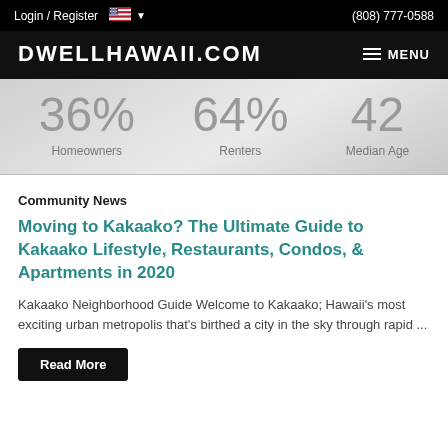Login / Register  (808) 777-0588
DWELLHAWAII.COM
[Figure (infographic): Statistics banner showing: 36% Homeowners, 64% Renters, 42 Median Age on a grey gradient background]
Community News
Moving to Kakaako? The Ultimate Guide to Kakaako Lifestyle, Restaurants, Condos, & Apartments in 2020
Kakaako Neighborhood Guide Welcome to Kakaako; Hawaii's most exciting urban metropolis that's birthed a city in the sky through rapid ...
Read More